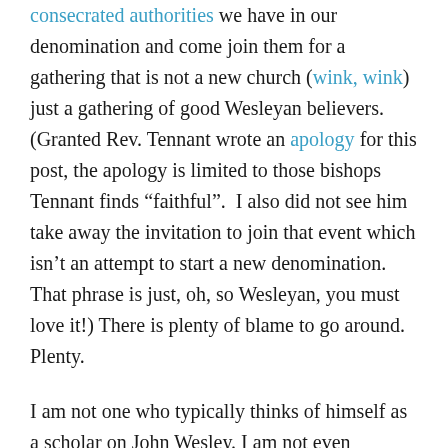consecrated authorities we have in our denomination and come join them for a gathering that is not a new church (wink, wink) just a gathering of good Wesleyan believers. (Granted Rev. Tennant wrote an apology for this post, the apology is limited to those bishops Tennant finds “faithful”.  I also did not see him take away the invitation to join that event which isn’t an attempt to start a new denomination. That phrase is just, oh, so Wesleyan, you must love it!) There is plenty of blame to go around. Plenty.
I am not one who typically thinks of himself as a scholar on John Wesley. I am not even absolutely sure that there should be anything known as Wesleyan Theology especially given the fact that Wesley himself